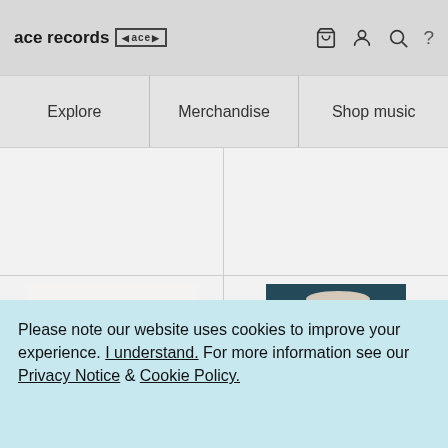ace records [ace logo] [cart] [user] [search] [?]
| Explore | Merchandise | Shop music |
| --- | --- | --- |
[Figure (photo): Black and white photo of a group of men in white shirts looking upward]
[Figure (photo): Color photo of a man wearing a white cowboy hat and sunglasses]
Please note our website uses cookies to improve your experience. I understand. For more information see our Privacy Notice & Cookie Policy.